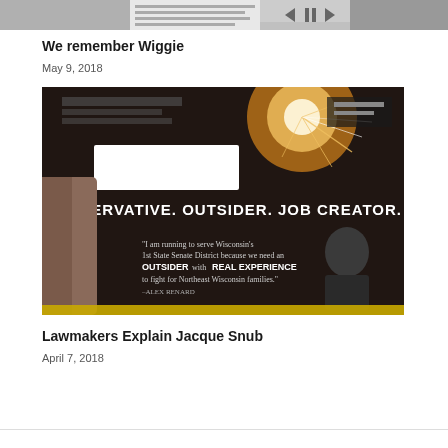[Figure (photo): Top portion of a newspaper or web article image, partially cropped, showing a black and white photo with navigation arrows]
We remember Wiggie
May 9, 2018
[Figure (photo): Photo of a political mailer being held, reading 'CONSERVATIVE. OUTSIDER. JOB CREATOR.' with text: 'I am running to serve Wisconsin's 1st State Senate District because we need an OUTSIDER with REAL EXPERIENCE to fight for Northeast Wisconsin families.' -ALEX RENARD]
Lawmakers Explain Jacque Snub
April 7, 2018